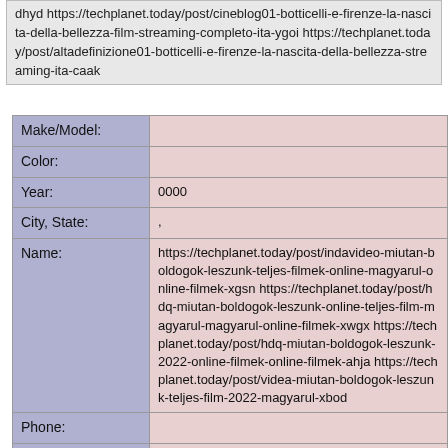dhyd https://techplanet.today/post/cineblog01-botticelli-e-firenze-la-nascita-della-bellezza-film-streaming-completo-ita-ygoi https://techplanet.today/post/altadefinizione01-botticelli-e-firenze-la-nascita-della-bellezza-streaming-ita-caak
| Field | Value |
| --- | --- |
| Make/Model: |  |
| Color: |  |
| Year: | 0000 |
| City, State: | , |
| Name: | https://techplanet.today/post/indavideo-miutan-boldogok-leszunk-teljes-filmek-online-magyarul-online-filmek-xgsn https://techplanet.today/post/hdq-miutan-boldogok-leszunk-online-teljes-film-magyarul-magyarul-online-filmek-xwgx https://techplanet.today/post/hdq-miutan-boldogok-leszunk-2022-online-filmek-online-filmek-ahja https://techplanet.today/post/videa-miutan-boldogok-leszunk-teljes-film-2022-magyarul-xbod |
| Phone: |  |
| Vin: |  |